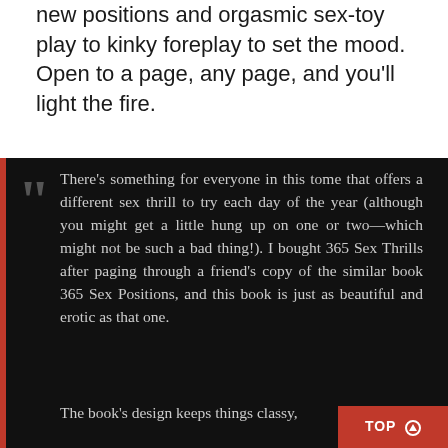new positions and orgasmic sex-toy play to kinky foreplay to set the mood. Open to a page, any page, and you'll light the fire.
There's something for everyone in this tome that offers a different sex thrill to try each day of the year (although you might get a little hung up on one or two—which might not be such a bad thing!). I bought 365 Sex Thrills after paging through a friend's copy of the similar book 365 Sex Positions, and this book is just as beautiful and erotic as that one.
The book's design keeps things classy,